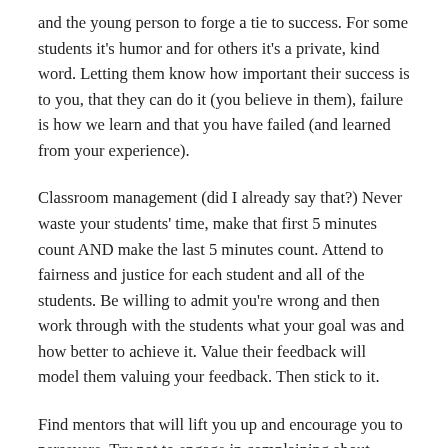and the young person to forge a tie to success. For some students it's humor and for others it's a private, kind word. Letting them know how important their success is to you, that they can do it (you believe in them), failure is how we learn and that you have failed (and learned from your experience).
Classroom management (did I already say that?) Never waste your students' time, make that first 5 minutes count AND make the last 5 minutes count. Attend to fairness and justice for each student and all of the students. Be willing to admit you're wrong and then work through with the students what your goal was and how better to achieve it. Value their feedback will model them valuing your feedback. Then stick to it.
Find mentors that will lift you up and encourage you to persevere. Try not to engage in complaining about students for the sake of getting things “off your chest.” I find